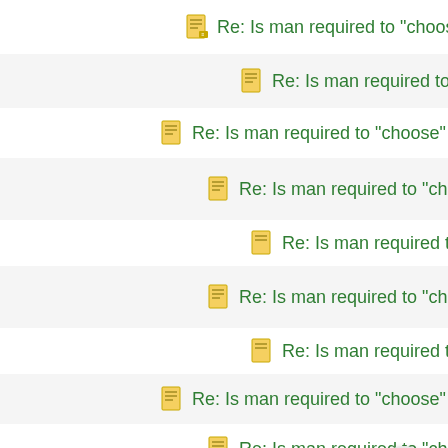Re: Is man required to "choose" in order to be sav
Re: Is man required to "choose" in order to be sav
Re: Is man required to "choose" in order to be sav
Re: Is man required to "choose" in order to be sav
Re: Is man required to "choose" in order to be sav
Re: Is man required to "choose" in order to be sav
Re: Is man required to "choose" in order to be sav
Re: Is man required to "choose" in order to be sav
Re: Is man required to "choose" in order to be sav
Re: Is man required to "choose" in order to be sav